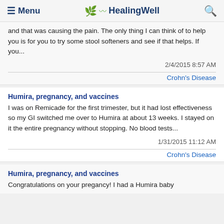≡ Menu   HealingWell   🔍
and that was causing the pain. The only thing I can think of to help you is for you to try some stool softeners and see if that helps. If you...
2/4/2015 8:57 AM
Crohn's Disease
Humira, pregnancy, and vaccines
I was on Remicade for the first trimester, but it had lost effectiveness so my GI switched me over to Humira at about 13 weeks. I stayed on it the entire pregnancy without stopping. No blood tests...
1/31/2015 11:12 AM
Crohn's Disease
Humira, pregnancy, and vaccines
Congratulations on your pregancy! I had a Humira baby